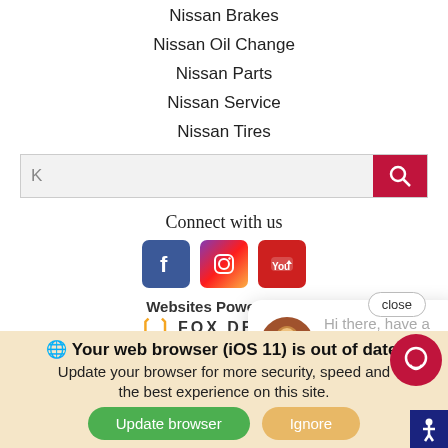Nissan Brakes
Nissan Oil Change
Nissan Parts
Nissan Service
Nissan Tires
[Figure (screenshot): Search input bar with red search button and 'K' placeholder text]
Connect with us
[Figure (infographic): Social media icons: Facebook, Instagram, YouTube]
Websites Powered By FOX DEALER
[Figure (screenshot): Chat popup with avatar and text 'Hi there, have a question? Text us here.' with close button]
CONTACT US · AC... DO NOT SELL MY...
Your web browser (iOS 11) is out of date. Update your browser for more security, speed and the best experience on this site.
[Figure (screenshot): Update browser and Ignore buttons, chat FAB button, accessibility button]